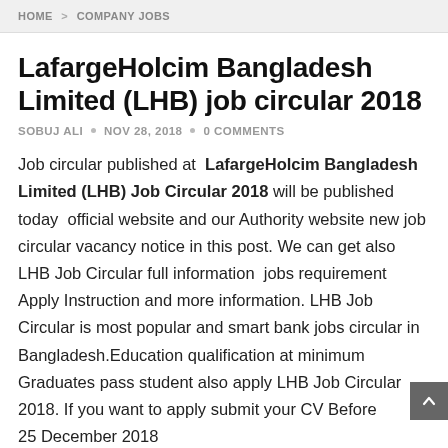HOME > COMPANY JOBS
LafargeHolcim Bangladesh Limited (LHB) job circular 2018
SOBUJ ALI • NOV 28, 2018 • 0 COMMENTS
Job circular published at LafargeHolcim Bangladesh Limited (LHB) Job Circular 2018 will be published today official website and our Authority website new job circular vacancy notice in this post. We can get also LHB Job Circular full information jobs requirement Apply Instruction and more information. LHB Job Circular is most popular and smart bank jobs circular in Bangladesh.Education qualification at minimum Graduates pass student also apply LHB Job Circular 2018. If you want to apply submit your CV Before 25 December 2018